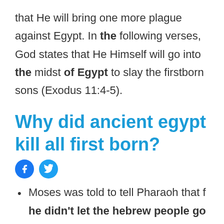that He will bring one more plague against Egypt. In the following verses, God states that He Himself will go into the midst of Egypt to slay the firstborn sons (Exodus 11:4-5).
Why did ancient egypt kill all first born?
[Figure (other): Facebook and Twitter social share icon buttons]
Moses was told to tell Pharaoh that f he didn't let the hebrew people go then it would result in the death of all the first borns in Egypt. This was before any miracle had been shewn,